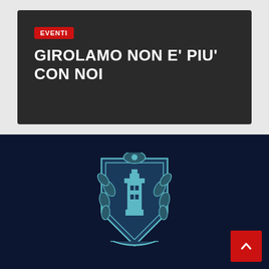EVENTI
GIROLAMO NON E' PIU' CON NOI
[Figure (logo): Municipal or institutional crest/coat of arms in teal/blue tones on dark navy background]
[Figure (other): Back to top button with upward arrow chevron, red background]